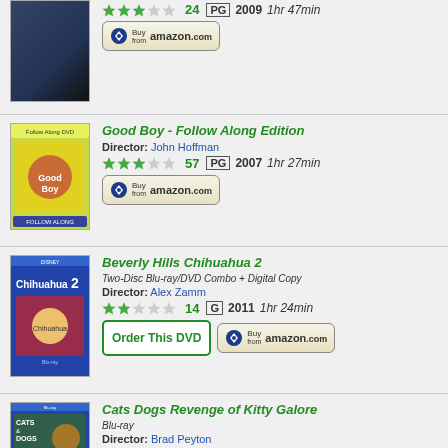[Figure (other): Movie listing 1 (partial, top cut off): cover image, star rating 24, PG, 2009, 1hr 47min, Buy from Amazon button]
[Figure (other): Good Boy - Follow Along Edition DVD cover]
Good Boy - Follow Along Edition
Director: John Hoffman
★★★☆☆ 57 PG 2007 1hr 27min
[Figure (other): Beverly Hills Chihuahua 2 Blu-ray cover]
Beverly Hills Chihuahua 2
Two-Disc Blu-ray/DVD Combo + Digital Copy
Director: Alex Zamm
★★☆☆☆ 14 G 2011 1hr 24min
[Figure (other): Cats Dogs Revenge of Kitty Galore Blu-ray cover]
Cats Dogs Revenge of Kitty Galore
Blu-ray
Director: Brad Peyton
★★★☆☆ 17 PG 2010 1hr 22min